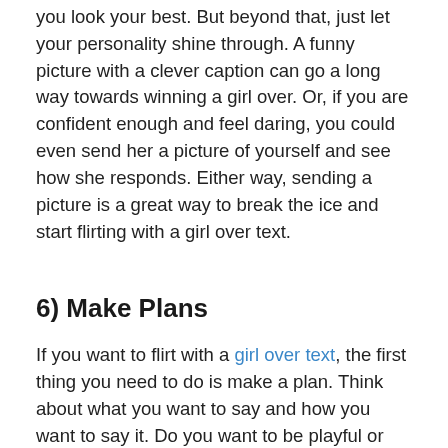you look your best. But beyond that, just let your personality shine through. A funny picture with a clever caption can go a long way towards winning a girl over. Or, if you are confident enough and feel daring, you could even send her a picture of yourself and see how she responds. Either way, sending a picture is a great way to break the ice and start flirting with a girl over text.
6) Make Plans
If you want to flirt with a girl over text, the first thing you need to do is make a plan. Think about what you want to say and how you want to say it. Do you want to be playful or serious? Flirty or